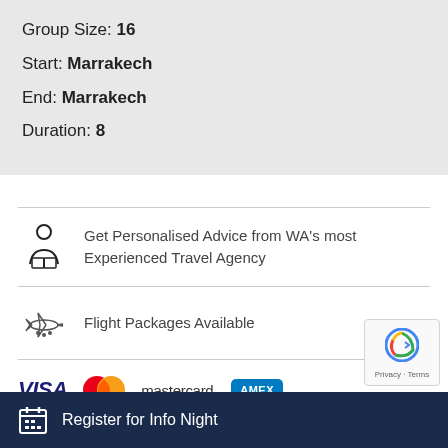Group Size: 16
Start: Marrakech
End: Marrakech
Duration: 8
Get Personalised Advice from WA's most Experienced Travel Agency
Flight Packages Available
[Figure (logo): Payment logos: VISA, Mastercard, American Express]
[Figure (logo): reCAPTCHA badge with Privacy and Terms text]
Register for Info Night